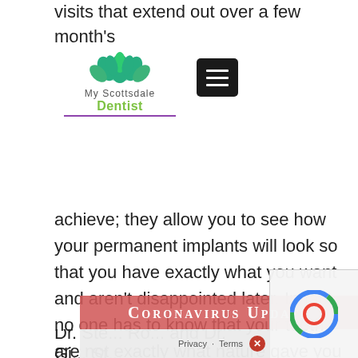visits that extend out over a few month's
[Figure (logo): My Scottsdale Dentist logo with green lotus flower icon and purple underline, alongside a dark hamburger menu button]
achieve; they allow you to see how your permanent implants will look so that you have exactly what you want and aren't disappointed later. In fact, no one has to know that your teeth are not exactly what nature gave you because no one will be able to tell that you are waiting for the permanent implants.
Coronavirus Update
Dr. Ste... Ro... and Dr. Gi... St...